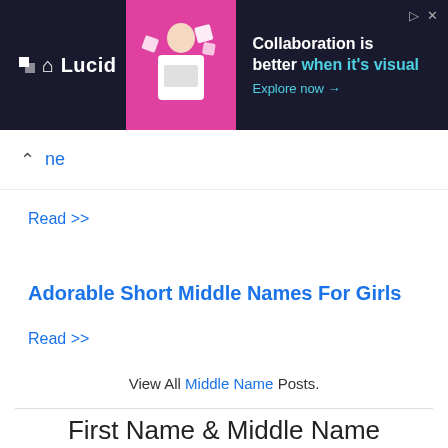[Figure (screenshot): Lucid advertisement banner with dark background. Shows Lucid logo, a woman with laptop on magenta circular background, and text 'Collaboration is better when it's visual. Explore now →']
ne
Read >>
Adorable Short Middle Names For Girls
Read >>
View All Middle Name Posts.
First Name & Middle Name Combinations